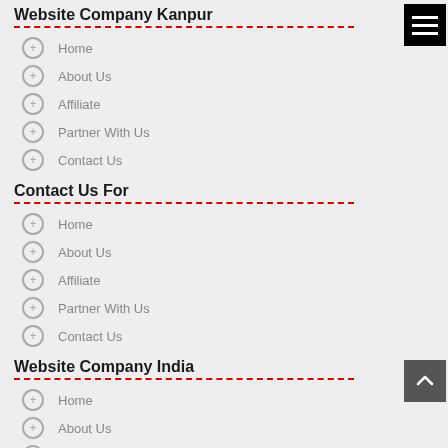Website Company Kanpur
Home
About Us
Affiliate
Partner With Us
Contact Us
Contact Us For
Home
About Us
Affiliate
Partner With Us
Contact Us
Website Company India
Home
About Us
Affiliate
Partner With Us
Contact Us